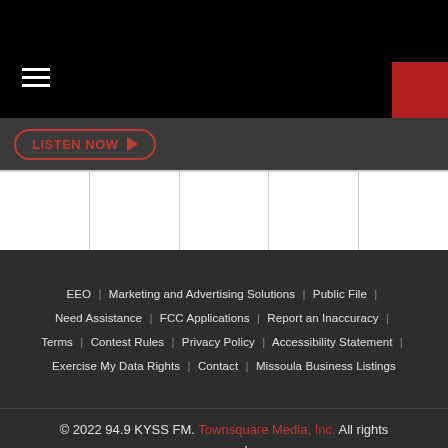[Figure (other): Black navigation bar with hamburger menu icon (three horizontal white lines) on the left and a red square on the top right]
[Figure (other): Dark grey bar with a red-bordered 'LISTEN NOW ▶' button]
[Figure (other): White grid area with 5 empty columns separated by grey lines]
EEO | Marketing and Advertising Solutions | Public File | Need Assistance | FCC Applications | Report an Inaccuracy | Terms | Contest Rules | Privacy Policy | Accessibility Statement | Exercise My Data Rights | Contact | Missoula Business Listings
© 2022 94.9 KYSS FM. Townsquare Media, Inc. All rights reserved.